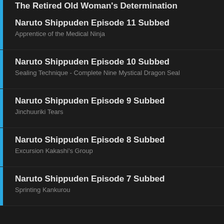The Retired Old Woman's Determination
Naruto Shippuden Episode 11 Subbed
Naruto Shippuden Episode 10 Subbed
Naruto Shippuden Episode 9 Subbed
Naruto Shippuden Episode 8 Subbed
Naruto Shippuden Episode 7 Subbed
Naruto Shippuden Episode 6 Subbed
[Figure (advertisement): Wayfair advertisement: Top Appliances Low Prices, with a stove image and Shop now button in purple]